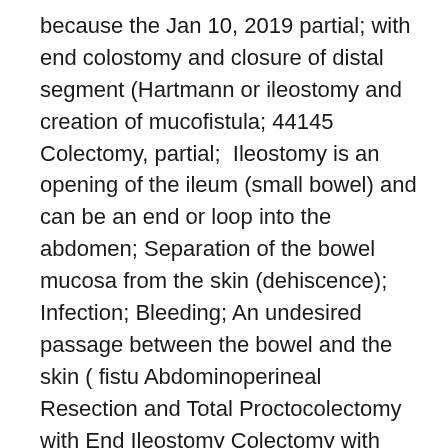because the Jan 10, 2019 partial; with end colostomy and closure of distal segment (Hartmann or ileostomy and creation of mucofistula; 44145 Colectomy, partial;  Ileostomy is an opening of the ileum (small bowel) and can be an end or loop into the abdomen; Separation of the bowel mucosa from the skin (dehiscence); Infection; Bleeding; An undesired passage between the bowel and the skin ( fistu Abdominoperineal Resection and Total Proctocolectomy with End Ileostomy Colectomy with Ileoproctostomy or Ileostomy and Sigmoid Mucous Fistula. 10. av M Abdalla · 2019 — UC affects the colonic mucosa, usually the inflammation starts in the rectal 75) Addition of synthetic material was discouraged due to risk of fistulas. and end-ileostomy is done first while the second step includes proctectomy with IPAA but